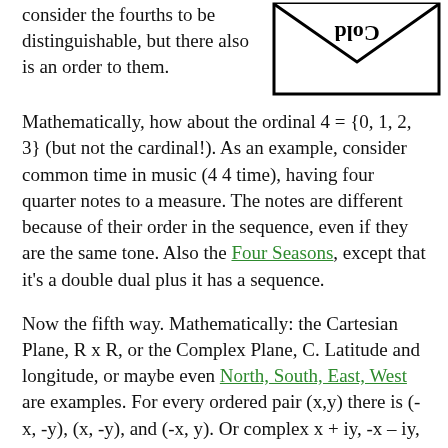consider the fourths to be distinguishable, but there also is an order to them. Mathematically, how about the ordinal 4 = {0, 1, 2, 3} (but not the cardinal!). As an example, consider common time in music (4 4 time), having four quarter notes to a measure. The notes are different because of their order in the sequence, even if they are the same tone. Also the Four Seasons, except that it's a double dual plus it has a sequence.
[Figure (illustration): A triangle-like shape with the word 'Cold' written upside-down inside it, next to a rectangle outline forming an envelope-like figure.]
Now the fifth way. Mathematically: the Cartesian Plane, R x R, or the Complex Plane, C. Latitude and longitude, or maybe even North, South, East, West are examples. For every ordered pair (x,y) there is (-x, -y), (x, -y), and (-x, y). Or complex x + iy, -x – iy, x – iy, -x + iy.
Sixth. Three and one. Not the song "Three and One" by Thad Jones, even though it's a great tune. Not the object (or is it the subject) of Trinitarianism, because that's three IN one, and also